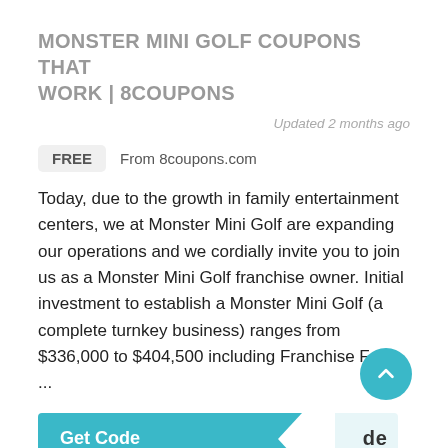MONSTER MINI GOLF COUPONS THAT WORK | 8COUPONS
Updated 2 months ago
FREE  From 8coupons.com
Today, due to the growth in family entertainment centers, we at Monster Mini Golf are expanding our operations and we cordially invite you to join us as a Monster Mini Golf franchise owner. Initial investment to establish a Monster Mini Golf (a complete turnkey business) ranges from $336,000 to $404,500 including Franchise Fee. ...
COUPON MONSTER MINI GOLF